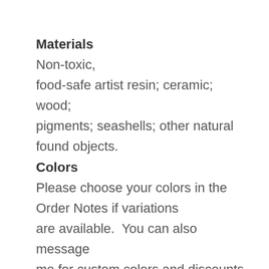Materials
Non-toxic, food-safe artist resin; ceramic; wood; pigments; seashells; other natural found objects.
Colors
Please choose your colors in the Order Notes if variations are available.  You can also message me for custom colors and discounts on high volume orders.
*Please note: Colors on